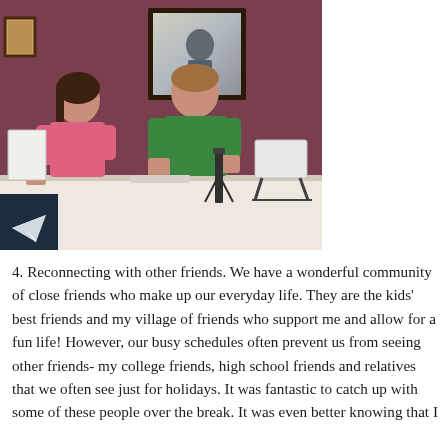[Figure (photo): Two children sitting at a white table from behind, in a room with dark reddish-purple walls. A girl on the left wearing a pink shirt holds a book/paper, a boy on the right wearing a green shirt works at the table. A framed mirror hangs on the wall behind them. A laptop stand is visible on the right side of the table. A dark square icon with a paper airplane is overlaid in the bottom-left corner of the photo.]
4. Reconnecting with other friends. We have a wonderful community of close friends who make up our everyday life. They are the kids' best friends and my village of friends who support me and allow for a fun life! However, our busy schedules often prevent us from seeing other friends- my college friends, high school friends and relatives that we often see just for holidays. It was fantastic to catch up with some of these people over the break. It was even better knowing that I didn't want it to end which tells me that my being a...